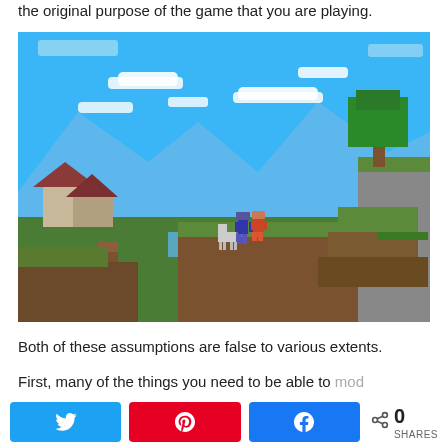the original purpose of the game that you are playing.
[Figure (screenshot): Minecraft game screenshot showing a blocky 3D landscape with green hills, brown earth blocks, trees, mountains in the background, blue sky with clouds, and several player characters standing on a grassy platform. A village with houses is visible on the left.]
Both of these assumptions are false to various extents.
First, many of the things you need to be able to mod effectively are already widely available out there. You do not
[Figure (infographic): Social share bar with Twitter (blue), Pinterest (red), and Facebook (blue) share buttons, and a share count showing 0 SHARES with a share icon.]